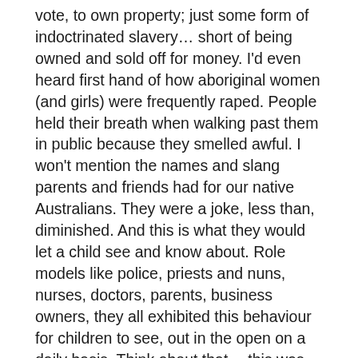vote, to own property; just some form of indoctrinated slavery… short of being owned and sold off for money. I'd even heard first hand of how aboriginal women (and girls) were frequently raped. People held their breath when walking past them in public because they smelled awful. I won't mention the names and slang parents and friends had for our native Australians. They were a joke, less than, diminished. And this is what they would let a child see and know about. Role models like police, priests and nuns, nurses, doctors, parents, business owners, they all exhibited this behaviour for children to see, out in the open on a daily basis. Think about that… this was deemed appropriate for kids; imagine the things that were inappropriate. It make me shudder.
Once I hit my teens, the culture was changing. Maybe it had a bit to do with the capitalisation of the Aboriginal culture through tourism. Aussies were